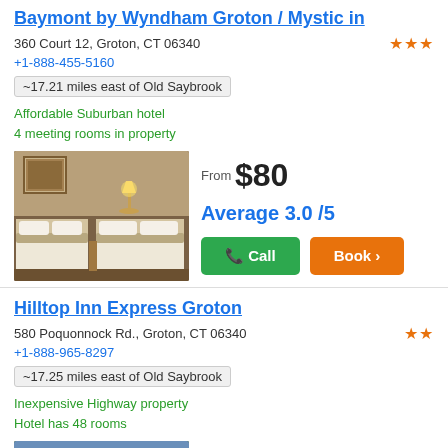Baymont by Wyndham Groton / Mystic in
360 Court 12, Groton, CT 06340
+1-888-455-5160
~17.21 miles east of Old Saybrook
Affordable Suburban hotel
4 meeting rooms in property
From $80
Average 3.0 /5
[Figure (photo): Hotel room with two beds, lamp, and artwork on wall]
Hilltop Inn Express Groton
580 Poquonnock Rd., Groton, CT 06340
+1-888-965-8297
~17.25 miles east of Old Saybrook
Inexpensive Highway property
Hotel has 48 rooms
From $58
[Figure (photo): Aerial or exterior view of Hilltop Inn Express Groton]